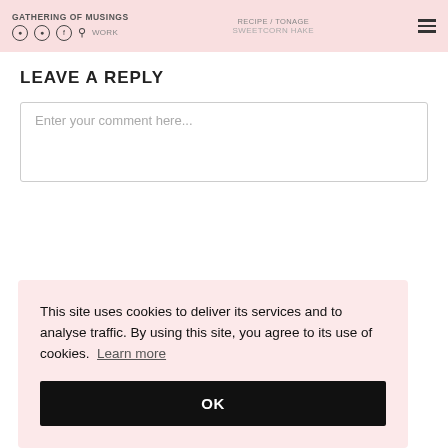GATHERING OF MUSINGS | RECIPE / TONAGE SWEETCORN HAKE
LEAVE A REPLY
Enter your comment here...
This site uses cookies to deliver its services and to analyse traffic. By using this site, you agree to its use of cookies. Learn more
OK